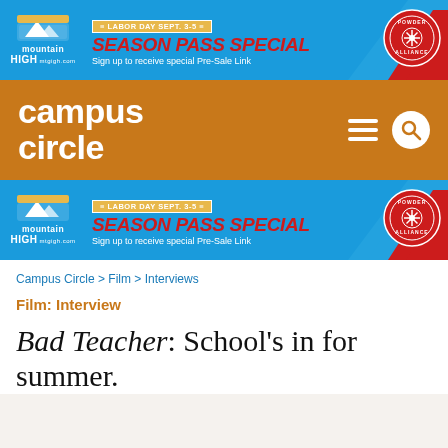[Figure (infographic): Mountain High ski resort advertisement banner: Labor Day Sept. 3-5 Season Pass Special. Sign up to receive special Pre-Sale Link. Blue background with red triangle mountain shapes and Powder Alliance badge.]
[Figure (logo): Campus Circle website navigation header with orange/golden-brown background, 'campus circle' logo in white, hamburger menu icon and search icon on the right.]
[Figure (infographic): Mountain High ski resort advertisement banner (second instance): Labor Day Sept. 3-5 Season Pass Special. Sign up to receive special Pre-Sale Link. Blue background with red triangle mountain shapes and Powder Alliance badge.]
Campus Circle > Film > Interviews
Film: Interview
Bad Teacher: School's in for summer.